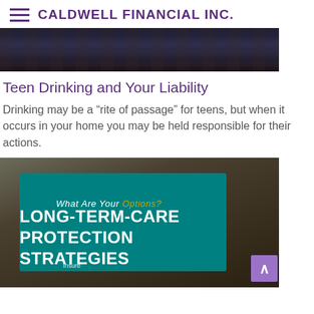CALDWELL FINANCIAL INC.
[Figure (photo): Dark wood texture image, top portion of article card]
Teen Drinking and Your Liability
Drinking may be a “rite of passage” for teens, but when it occurs in your home you may be held responsible for their actions.
[Figure (photo): Tablet showing teal infographic with text: What Are Your Options? LONG-TERM-CARE PROTECTION STRATEGIES, with magazine overlay graphics]